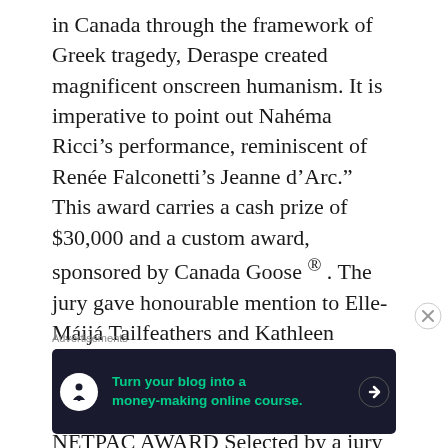in Canada through the framework of Greek tragedy, Deraspe created magnificent onscreen humanism. It is imperative to point out Nahéma Ricci's performance, reminiscent of Renée Falconetti's Jeanne d'Arc." This award carries a cash prize of $30,000 and a custom award, sponsored by Canada Goose ® . The jury gave honourable mention to Elle-Máijá Tailfeathers and Kathleen Hepburn's The Body Remembers When the World Broke Open.

NETPAC AWARD Selected by a jury from the Network for the Promotion of Asian Pacific Cinema (NETPAC), the NETPAC Award goes to
Advertisements
[Figure (infographic): Dark navy advertisement banner: circular white icon with a tree/person silhouette on left, green text reading 'Turn your blog into a money-making online course.' in center, white arrow on right.]